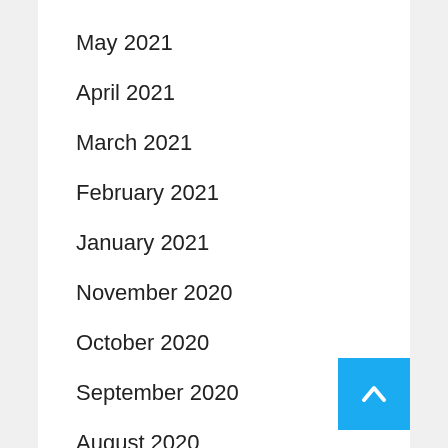May 2021
April 2021
March 2021
February 2021
January 2021
November 2020
October 2020
September 2020
August 2020
July 2020